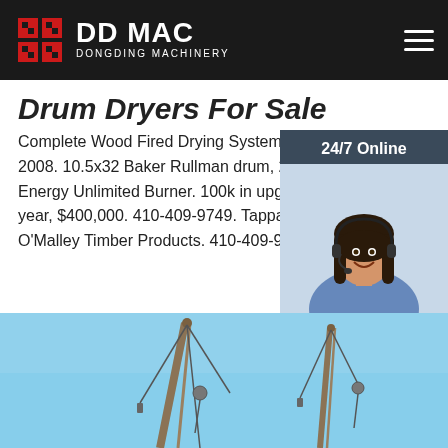DDMAC DONGDING MACHINERY
Drum Dryers For Sale
Complete Wood Fired Drying System. All Ne 2008. 10.5x32 Baker Rullman drum, 20mm Energy Unlimited Burner. 100k in upgrades year, $400,000. 410-409-9749. Tappahanno O'Malley Timber Products. 410-409-9749.
24/7 Online
Click here for free chat !
QUOTATION
Get Price
[Figure (photo): Crane equipment photographed against a blue sky, showing two crane booms with cables/pulleys]